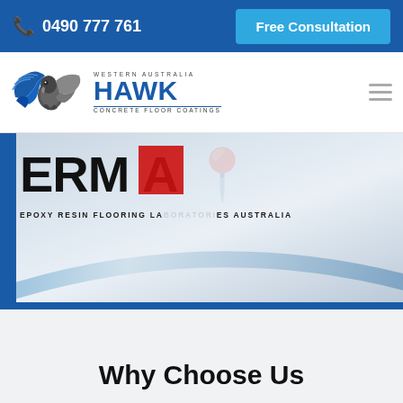📞 0490 777 761  Free Consultation
[Figure (logo): Hawk Concrete Floor Coatings logo with eagle graphic — Western Australia Hawk Concrete Floor Coatings]
[Figure (photo): Banner image showing partial text 'ERMA' (partially obscured by red rectangle) with subtitle 'EPOXY RESIN FLOORING LA[BORATORI]ES AUSTRALIA', metallic swoosh design on grey gradient background with blue border elements]
Why Choose Us